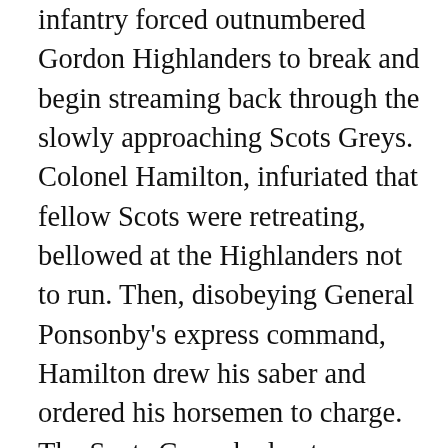infantry forced outnumbered Gordon Highlanders to break and begin streaming back through the slowly approaching Scots Greys. Colonel Hamilton, infuriated that fellow Scots were retreating, bellowed at the Highlanders not to run. Then, disobeying General Ponsonby's express command, Hamilton drew his saber and ordered his horsemen to charge. The Scots Greys had not seen action in twenty years, and Hamilton's inexperienced troopers excitedly surged forward with him. Watching from the slope to the rear, a furious General Ponsonby ordered the recall sounded, but the Scots Greys ignored the bugle